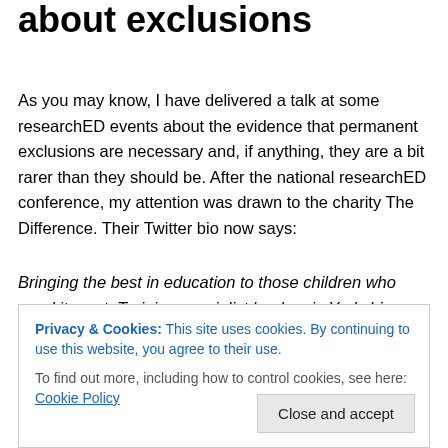about exclusions
As you may know, I have delivered a talk at some researchED events about the evidence that permanent exclusions are necessary and, if anything, they are a bit rarer than they should be. After the national researchED conference, my attention was drawn to the charity The Difference. Their Twitter bio now says:
Bringing the best in education to those children who need it most. Training specialist leaders in Yorkshire, North West, London & South England.
Privacy & Cookies: This site uses cookies. By continuing to use this website, you agree to their use.
To find out more, including how to control cookies, see here: Cookie Policy
school exclusion. Our mission: to place excellent teachers